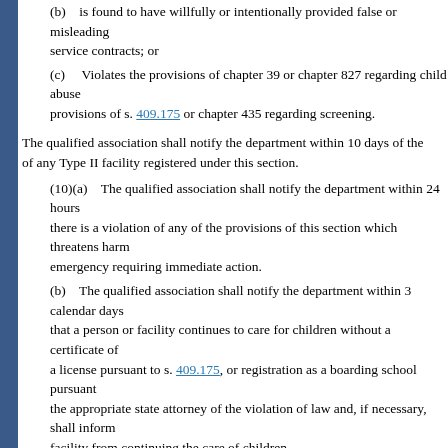(b) is found to have willfully or intentionally provided false or misleading service contracts; or
(c) Violates the provisions of chapter 39 or chapter 827 regarding child abuse provisions of s. 409.175 or chapter 435 regarding screening.
The qualified association shall notify the department within 10 days of the of any Type II facility registered under this section.
(10)(a) The qualified association shall notify the department within 24 h there is a violation of any of the provisions of this section which threatens ha emergency requiring immediate action.
(b) The qualified association shall notify the department within 3 calend that a person or facility continues to care for children without a certificate of a license pursuant to s. 409.175, or registration as a boarding school pursuant the appropriate state attorney of the violation of law and, if necessary, shall i facility from continuing the care of children.
(c) The department may institute injunctive proceedings in a court of co
1. Enforce the provisions of this section; or
2. Terminate the operation of a facility in which any of the conditions de exist.
Such injunctive relief may be temporary or permanent.
(11)(a) The department is authorized to seek compliance with the registr fullest extent possible by reliance on administrative sanctions and civil action
(b) If the department determines that a person or facility is caring for a